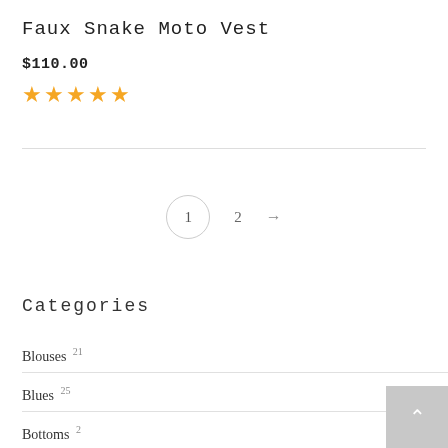Faux Snake Moto Vest
$110.00
[Figure (other): Five gold/yellow star rating icons]
[Figure (other): Pagination control showing page 1 (circled), page 2, and a right arrow]
Categories
Blouses 21
Blues 25
Bottoms 2